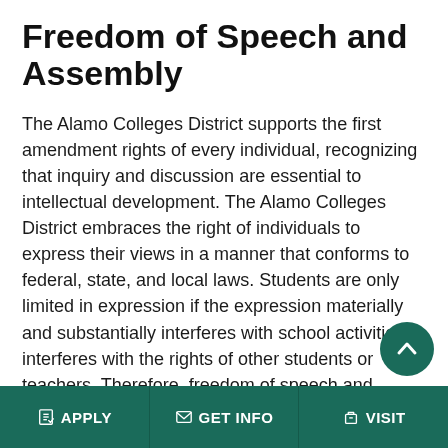Freedom of Speech and Assembly
The Alamo Colleges District supports the first amendment rights of every individual, recognizing that inquiry and discussion are essential to intellectual development. The Alamo Colleges District embraces the right of individuals to express their views in a manner that conforms to federal, state, and local laws. Students are only limited in expression if the expression materially and substantially interferes with school activities or interferes with the rights of other students or teachers. Therefore, freedom of speech and assembly rights must be exercised in a manner and at a location that does not intrude upon or interfere with the academic programs and
APPLY | GET INFO | VISIT